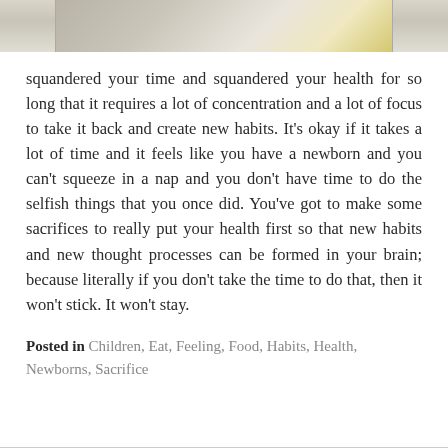[Figure (photo): Partial view of colorful round objects (beige, gray, yellow) — top portion of an image cropped at the top of the page.]
squandered your time and squandered your health for so long that it requires a lot of concentration and a lot of focus to take it back and create new habits. It's okay if it takes a lot of time and it feels like you have a newborn and you can't squeeze in a nap and you don't have time to do the selfish things that you once did. You've got to make some sacrifices to really put your health first so that new habits and new thought processes can be formed in your brain; because literally if you don't take the time to do that, then it won't stick. It won't stay.
Posted in Children, Eat, Feeling, Food, Habits, Health, Newborns, Sacrifice